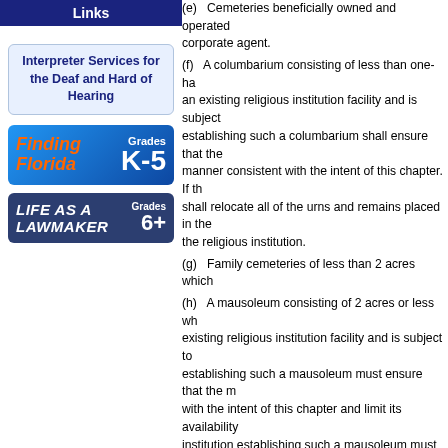Links
[Figure (other): Interpreter Services for the Deaf and Hard of Hearing link box]
[Figure (other): Finding Florida Grades K-5 educational link banner]
[Figure (other): Life as a Lawmaker Grades 6+ educational link banner]
(e) Cemeteries beneficially owned and operated ... corporate agent.
(f) A columbarium consisting of less than one-half ... an existing religious institution facility and is subject ... establishing such a columbarium shall ensure that the ... manner consistent with the intent of this chapter. If th... shall relocate all of the urns and remains placed in the ... the religious institution.
(g) Family cemeteries of less than 2 acres which ...
(h) A mausoleum consisting of 2 acres or less wh... existing religious institution facility and is subject to ... establishing such a mausoleum must ensure that the m... with the intent of this chapter and limit its availability... institution establishing such a mausoleum must have ... sufficient funds in an endowment fund to cover the co...
(i) A columbarium consisting of 5 acres or less w... defined in s. 1000.21(6). The university or university ... which establishes the columbarium shall ensure that t... maintained in a manner consistent with subsection (2...
(2) Section 497.276(1) as to burial records, and ... 497.280, and 497.284 apply to all cemeteries in this...
(3) All cemeteries exempted under this chapter w... investigation and mediation procedure by the departm...